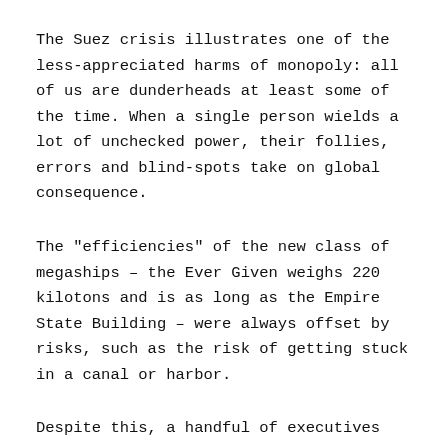The Suez crisis illustrates one of the less-appreciated harms of monopoly: all of us are dunderheads at least some of the time. When a single person wields a lot of unchecked power, their follies, errors and blind-spots take on global consequence.
The "efficiencies" of the new class of megaships – the Ever Given weighs 220 kilotons and is as long as the Empire State Building – were always offset by risks, such as the risk of getting stuck in a canal or harbor.
Despite this, a handful of executives